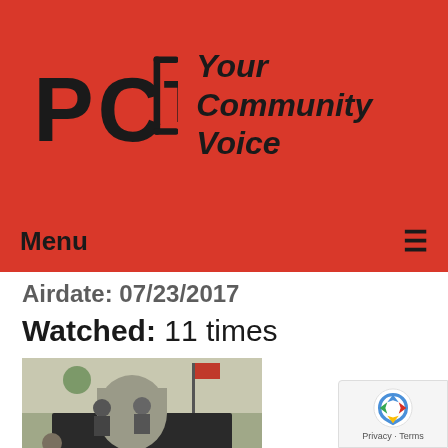[Figure (logo): PCTV logo with text 'Your Community Voice' on a red background]
Menu ≡
Airdate: 07/23/2017
Watched: 11 times
[Figure (photo): Thumbnail image of a village board meeting room with people seated at a dark table]
The Village Board Meeting of 09-11-17
Airdate: 09/11/2017
Watched: 40 ti…